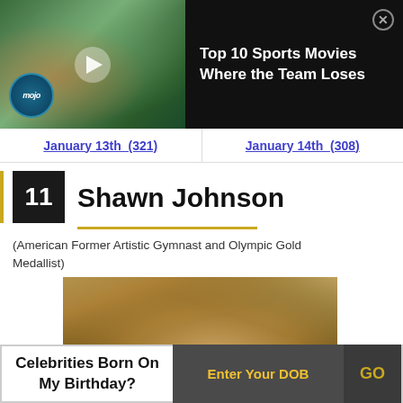[Figure (screenshot): Video thumbnail showing football/sports players with helmets, with WatchMojo logo, and a play button overlay]
Top 10 Sports Movies Where the Team Loses
January 13th  (321)
January 14th  (308)
11
Shawn Johnson
(American Former Artistic Gymnast and Olympic Gold Medallist)
[Figure (photo): Photo of Shawn Johnson, blonde woman against decorative background]
Celebrities Born On My Birthday?
Enter Your DOB
GO